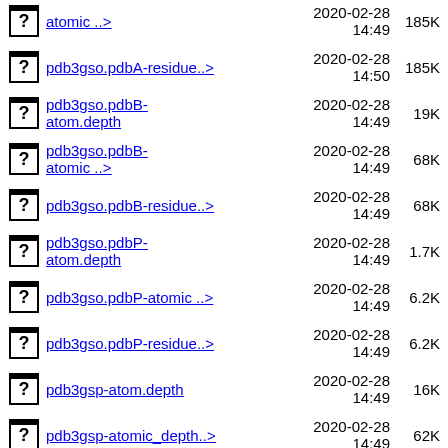atomic ..> 2020-02-28 14:49 185K
pdb3gso.pdbA-residue..> 2020-02-28 14:50 185K
pdb3gso.pdbB-atom.depth 2020-02-28 14:49 19K
pdb3gso.pdbB-atomic ..> 2020-02-28 14:49 68K
pdb3gso.pdbB-residue..> 2020-02-28 14:49 68K
pdb3gso.pdbP-atom.depth 2020-02-28 14:49 1.7K
pdb3gso.pdbP-atomic ..> 2020-02-28 14:49 6.2K
pdb3gso.pdbP-residue..> 2020-02-28 14:49 6.2K
pdb3gsp-atom.depth 2020-02-28 14:49 16K
pdb3gsp-atomic_depth..> 2020-02-28 14:49 62K
pdb3gsp-residue.depth 2020-02-28 14:50 8.2K
pdb3gsp-residue_dept..> 2020-02-28 14:49 62K